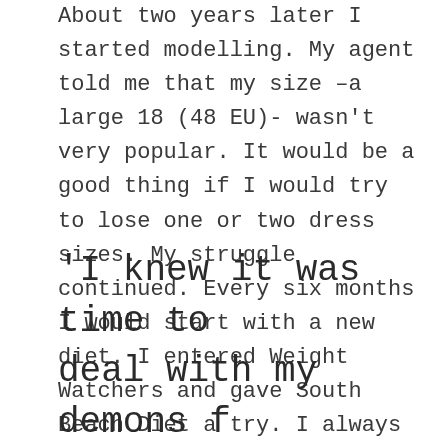About two years later I started modelling. My agent told me that my size –a large 18 (48 EU)- wasn't very popular. It would be a good thing if I would try to lose one or two dress sizes. My struggle continued. Every six months I would start with a new diet. I entered Weight Watchers and gave South Beach Diet a try. I always managed to lose some weight but after two, three or four weeks something would happen that caused stress and I would fall off the wagon into a big pile of chocolate again. When I look at old diaries it breaks my heart. All I wrote about were my failing attempts to lose weight. And how I hated myself for not being strong enough to make it happen.
'I knew it was time to deal with my demons f